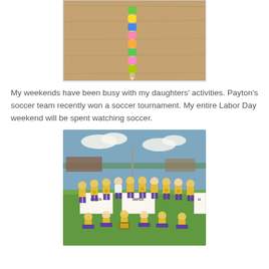[Figure (photo): Close-up photo of a colorful beaded pencil on a wooden surface. The pencil has square foam/rubber beads in colors including green, yellow, blue, pink, and lime green stacked along its length.]
My weekends have been busy with my daughters' activities. Payton's soccer team recently won a soccer tournament. My entire Labor Day weekend will be spent watching soccer.
[Figure (photo): Group photo of a girls youth soccer team wearing yellow jerseys and purple shorts, posing outdoors on a grass field after winning a tournament. Some players hold 'United' banners and medals. The team has two rows — standing and sitting.]